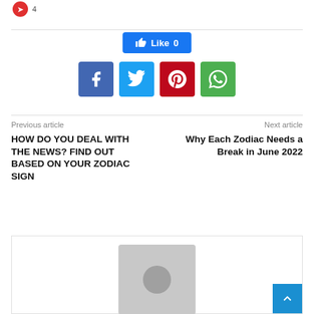[Figure (infographic): Red circle badge with number 4]
[Figure (infographic): Facebook Like button showing 'Like 0' in blue]
[Figure (infographic): Row of social share buttons: Facebook (blue), Twitter (light blue), Pinterest (red), WhatsApp (green)]
Previous article
HOW DO YOU DEAL WITH THE NEWS? FIND OUT BASED ON YOUR ZODIAC SIGN
Next article
Why Each Zodiac Needs a Break in June 2022
[Figure (photo): Author avatar placeholder image (grey background with white circle)]